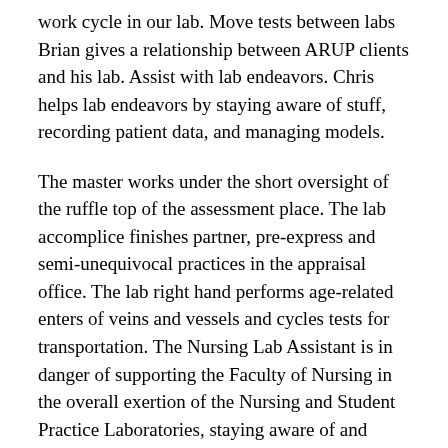work cycle in our lab. Move tests between labs Brian gives a relationship between ARUP clients and his lab. Assist with lab endeavors. Chris helps lab endeavors by staying aware of stuff, recording patient data, and managing models.
The master works under the short oversight of the ruffle top of the assessment place. The lab accomplice finishes partner, pre-express and semi-unequivocal practices in the appraisal office. The lab right hand performs age-related enters of veins and vessels and cycles tests for transportation. The Nursing Lab Assistant is in danger of supporting the Faculty of Nursing in the overall exertion of the Nursing and Student Practice Laboratories, staying aware of and paying special attention to lab supplies/stuff, and staying aware of the tidiness and security of the Nursing Lab.